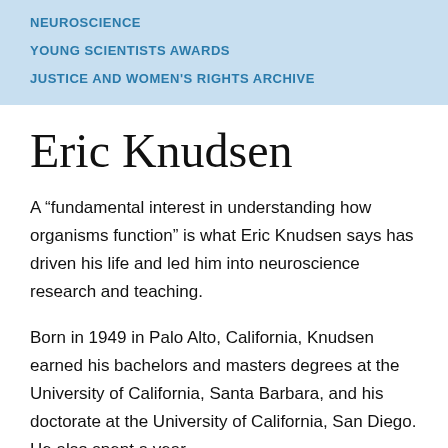NEUROSCIENCE
YOUNG SCIENTISTS AWARDS
JUSTICE AND WOMEN'S RIGHTS ARCHIVE
Eric Knudsen
A “fundamental interest in understanding how organisms function” is what Eric Knudsen says has driven his life and led him into neuroscience research and teaching.
Born in 1949 in Palo Alto, California, Knudsen earned his bachelors and masters degrees at the University of California, Santa Barbara, and his doctorate at the University of California, San Diego. He also spent a year